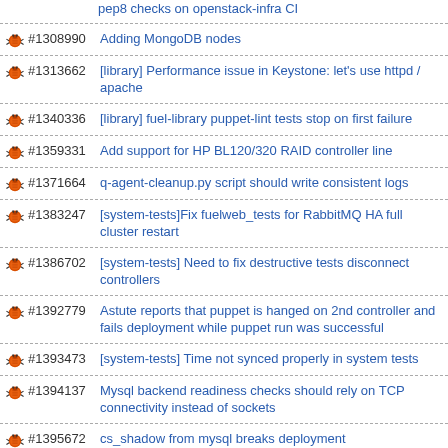pep8 checks on openstack-infra CI
#1308990 Adding MongoDB nodes
#1313662 [library] Performance issue in Keystone: let's use httpd / apache
#1340336 [library] fuel-library puppet-lint tests stop on first failure
#1359331 Add support for HP BL120/320 RAID controller line
#1371664 q-agent-cleanup.py script should write consistent logs
#1383247 [system-tests]Fix fuelweb_tests for RabbitMQ HA full cluster restart
#1386702 [system-tests] Need to fix destructive tests disconnect controllers
#1392779 Astute reports that puppet is hanged on 2nd controller and fails deployment while puppet run was successful
#1393473 [system-tests] Time not synced properly in system tests
#1394137 Mysql backend readiness checks should rely on TCP connectivity instead of sockets
#1395672 cs_shadow from mysql breaks deployment